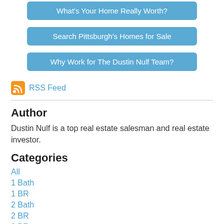[Figure (other): Blue rounded button: What's Your Home Really Worth?]
[Figure (other): Blue rounded button: Search Pittsburgh's Homes for Sale]
[Figure (other): Blue rounded button: Why Work for The Dustin Nulf Team?]
RSS Feed
Author
Dustin Nulf is a top real estate salesman and real estate investor.
Categories
All
1 Bath
1 BR
2 Bath
2 BR
3 BR